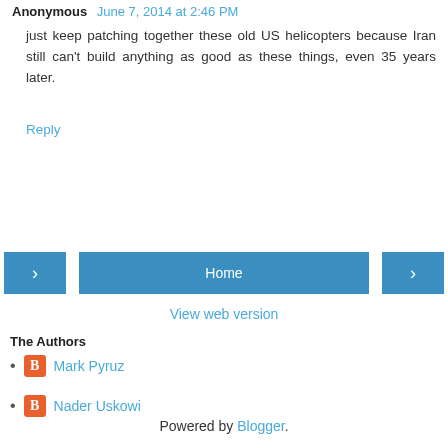Anonymous June 7, 2014 at 2:46 PM
just keep patching together these old US helicopters because Iran still can't build anything as good as these things, even 35 years later.
Reply
Home
View web version
The Authors
Mark Pyruz
Nader Uskowi
Powered by Blogger.